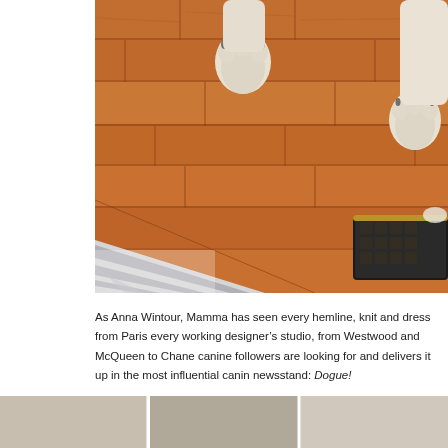[Figure (photo): Close-up photo of a dog's paws standing on a warm honey-toned hardwood floor with a grey and white chevron/striped rug in the lower-left corner. A dark Louis Vuitton wallet/purse is visible in the lower-right of the frame.]
As Anna Wintour, Mamma has seen every hemline, knit and dress from Paris every working designerâs studio, from Westwood and McQueen to Chane canine followers are looking for and delivers it up in the most influential canin newsstand: Dogue!
[Figure (photo): Bottom strip showing partial images of magazine covers or related content, cut off at the bottom of the page.]